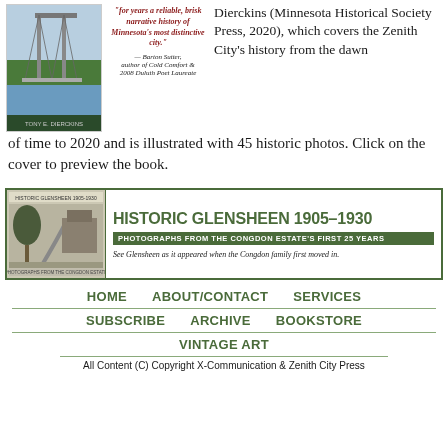[Figure (photo): Book cover of a Duluth history book by Tony E. Dierckins, showing aerial photo of Duluth with bridge, published by Minnesota Historical Society Press 2020]
"for years a reliable, brisk narrative history of Minnesota's most distinctive city." — Barton Sutter, author of Cold Comfort & 2008 Duluth Poet Laureate
Dierckins (Minnesota Historical Society Press, 2020), which covers the Zenith City's history from the dawn of time to 2020 and is illustrated with 45 historic photos. Click on the cover to preview the book.
[Figure (screenshot): Banner advertisement for Historic Glensheen 1905-1930 book: Photographs from the Congdon Estate's First 25 Years. See Glensheen as it appeared when the Congdon family first moved in.]
HOME
ABOUT/CONTACT
SERVICES
SUBSCRIBE
ARCHIVE
BOOKSTORE
VINTAGE ART
All Content (C) Copyright X-Communication & Zenith City Press